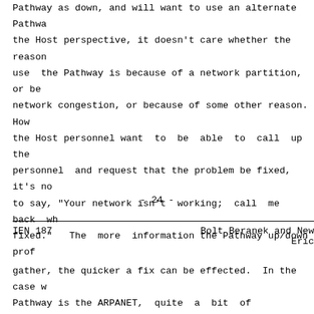Pathway as down, and will want to use an alternate Pathway. From the Host perspective, it doesn't care whether the reason it can't use the Pathway is because of a network partition, or because of network congestion, or because of some other reason. However, the Host personnel want to be able to call up the Pathway personnel and request that the problem be fixed, it's not enough to say, "Your network isn't working; call me back when it's fixed." The more information the Pathway up/down protocol can
- 24 -
IEN 187                                        Bolt Beranek and Newman
                                                              Eric
gather, the quicker a fix can be effected.  In the case where the Pathway is the ARPANET, quite a bit of information can be gathered from proper instrumentation of the 1822 module, and proper attention by the host software to the 1822 replies.